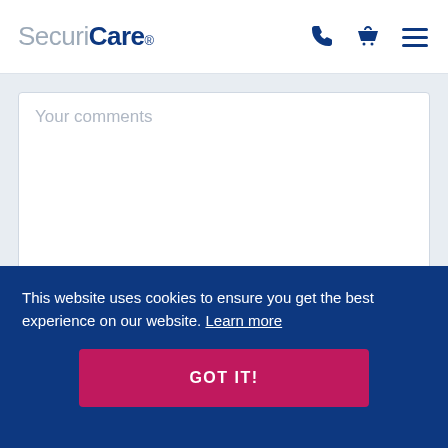SecuriCare
Your comments
ADD COMMENT
This website uses cookies to ensure you get the best experience on our website. Learn more
GOT IT!